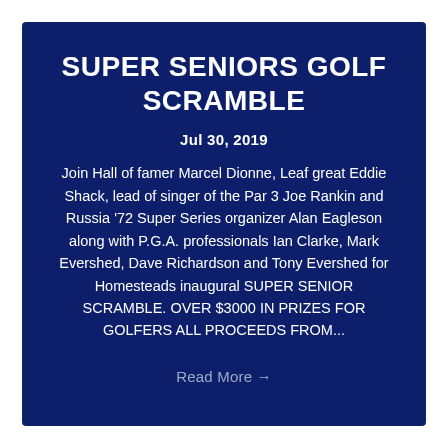SUPER SENIORS GOLF SCRAMBLE
Jul 30, 2019
Join Hall of famer Marcel Dionne, Leaf great Eddie Shack, lead of singer of the Par 3 Joe Rankin and Russia '72 Super Series organizer Alan Eagleson along with P.G.A. professionals Ian Clarke, Mark Evershed, Dave Richardson and Tony Evershed for Homesteads inaugural SUPER SENIOR SCRAMBLE. OVER $3000 IN PRIZES FOR GOLFERS ALL PROCEEDS FROM...
Read More →